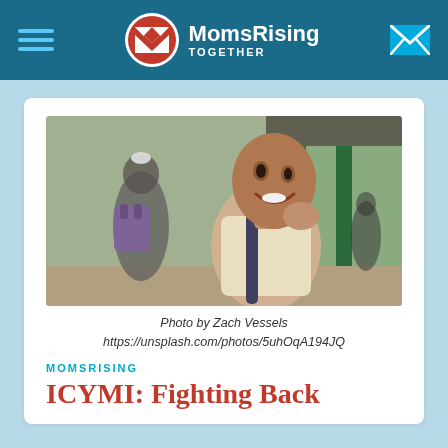MomsRising TOGETHER
[Figure (photo): A smiling young boy with a backpack at what appears to be a school entrance, with another child visible in the background carrying a purple backpack.]
Photo by Zach Vessels
https://unsplash.com/photos/5uhOqA194JQ
MOMSRISING
ICYMI: Fighting Back